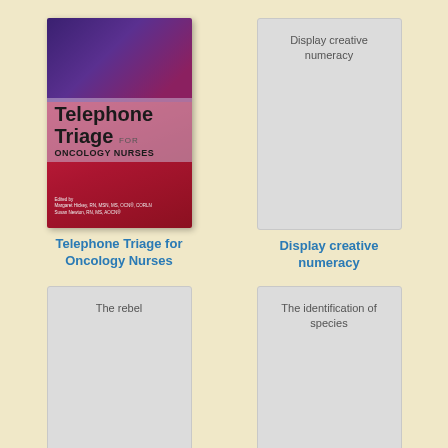[Figure (illustration): Book cover of 'Telephone Triage for Oncology Nurses' edited by Margaret Hickey and Susan Newton, with purple and red background design]
Telephone Triage for Oncology Nurses
[Figure (other): Placeholder card with text 'Display creative numeracy']
Display creative numeracy
[Figure (other): Placeholder card with text 'The rebel']
[Figure (other): Placeholder card with text 'The identification of species']